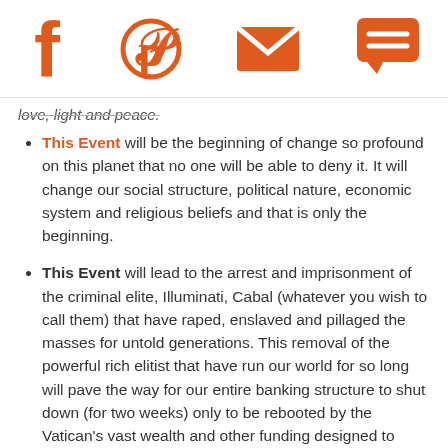Social share icons: Facebook, Pinterest, Email, Chat
love, light and peace.
This Event will be the beginning of change so profound on this planet that no one will be able to deny it. It will change our social structure, political nature, economic system and religious beliefs and that is only the beginning.
This Event will lead to the arrest and imprisonment of the criminal elite, Illuminati, Cabal (whatever you wish to call them) that have raped, enslaved and pillaged the masses for untold generations. This removal of the powerful rich elitist that have run our world for so long will pave the way for our entire banking structure to shut down (for two weeks) only to be rebooted by the Vatican's vast wealth and other funding designed to provide a more fair and equitable system for every person on the